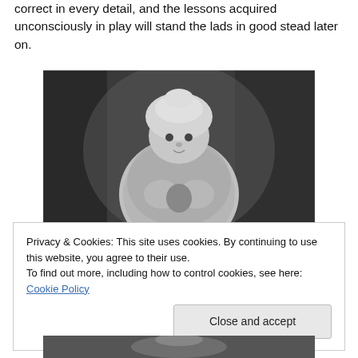correct in every detail, and the lessons acquired unconsciously in play will stand the lads in good stead later on.
[Figure (photo): Black and white historical photograph of a young child wearing a decorative bonnet and fur-trimmed coat, holding what appears to be a small object or toy, seated against a dark draped background.]
Privacy & Cookies: This site uses cookies. By continuing to use this website, you agree to their use.
To find out more, including how to control cookies, see here: Cookie Policy
[Figure (photo): Partial black and white photograph visible at the bottom of the page, cropped.]